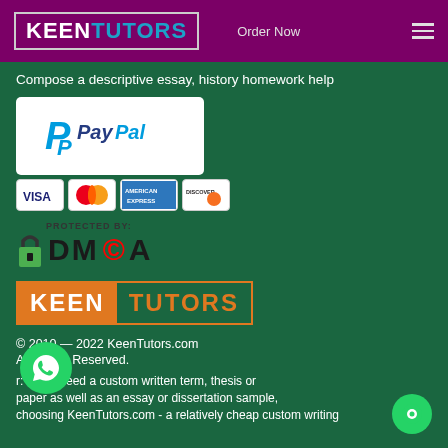KEEN TUTORS | Order Now
Compose a descriptive essay, history homework help
[Figure (logo): PayPal logo on white background]
[Figure (logo): Payment cards: VISA, Mastercard, American Express, Discover]
[Figure (logo): DMCA Protected badge with lock icon]
[Figure (logo): KEEN TUTORS footer logo in orange and white]
© 2010 — 2022 KeenTutors.com
All Rights Reserved.
r: If you need a custom written term, thesis or paper as well as an essay or dissertation sample, choosing KeenTutors.com - a relatively cheap custom writing